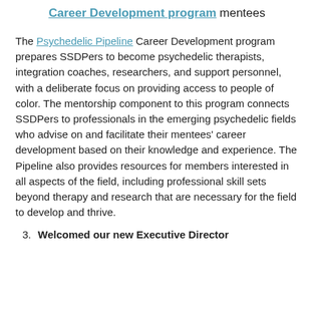Career Development program mentees
The Psychedelic Pipeline Career Development program prepares SSDPers to become psychedelic therapists, integration coaches, researchers, and support personnel, with a deliberate focus on providing access to people of color. The mentorship component to this program connects SSDPers to professionals in the emerging psychedelic fields who advise on and facilitate their mentees' career development based on their knowledge and experience. The Pipeline also provides resources for members interested in all aspects of the field, including professional skill sets beyond therapy and research that are necessary for the field to develop and thrive.
3. Welcomed our new Executive Director